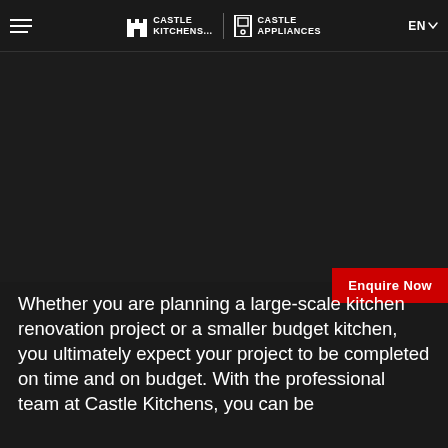Castle Kitchens | Castle Appliances — EN
[Figure (screenshot): Dark hero section with no visible image content]
Enquire Now
Whether you are planning a large-scale kitchen renovation project or a smaller budget kitchen, you ultimately expect your project to be completed on time and on budget. With the professional team at Castle Kitchens, you can be